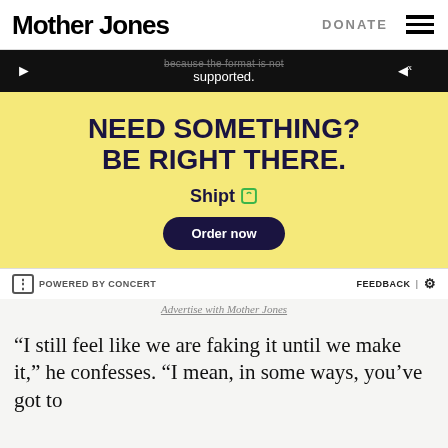Mother Jones   DONATE
[Figure (screenshot): Advertisement: Video player showing 'because the format is not supported.' message. Below is a yellow background ad for Shipt with text 'NEED SOMETHING? BE RIGHT THERE.' and Shipt logo and 'Order now' button.]
POWERED BY CONCERT   FEEDBACK | ⚙
Advertise with Mother Jones
“I still feel like we are faking it until we make it,” he confesses. “I mean, in some ways, you’ve got to